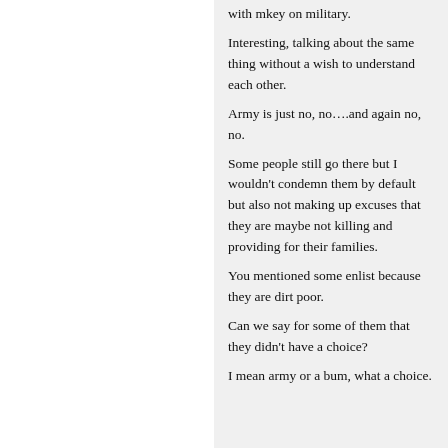with mkey on military. Interesting, talking about the same thing without a wish to understand each other. Army is just no, no….and again no, no. Some people still go there but I wouldn't condemn them by default but also not making up excuses that they are maybe not killing and providing for their families. You mentioned some enlist because they are dirt poor. Can we say for some of them that they didn't have a choice? I mean army or a bum, what a choice.